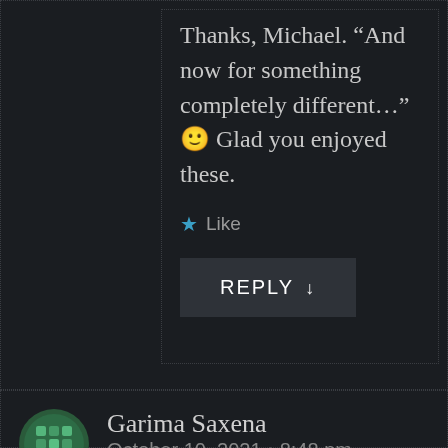Thanks, Michael. “And now for something completely different…” 🙂 Glad you enjoyed these.
★ Like
REPLY ↓
Garima Saxena
October 10, 2021 • 8:48 pm